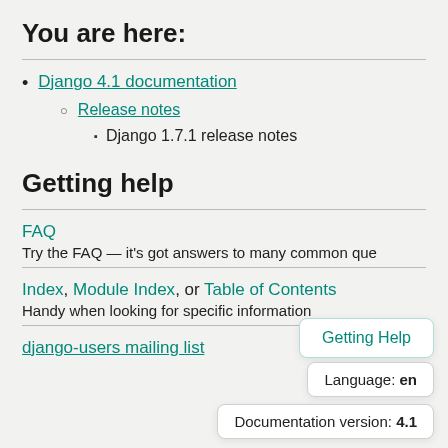You are here:
Django 4.1 documentation
Release notes
Django 1.7.1 release notes
Getting help
FAQ
Try the FAQ — it's got answers to many common que
Index, Module Index, or Table of Contents
Handy when looking for specific information
Getting Help
Language: en
Documentation version: 4.1
django-users mailing list